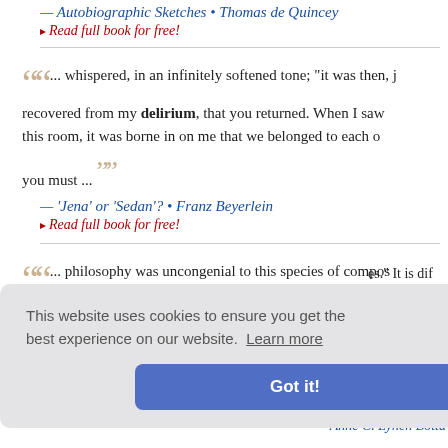— Autobiographic Sketches • Thomas de Quincey
▸ Read full book for free!
... whispered, in an infinitely softened tone; "it was then, j... recovered from my delirium, that you returned. When I saw... this room, it was borne in on me that we belonged to each o... you must ...
— 'Jena' or 'Sedan'? • Franz Beyerlein
▸ Read full book for free!
... philosophy was uncongenial to this species of compos... does not afford one remarkable historian. The fame of the A... es." It is dif... ium of opi... nded to ove... d during th... ate in this ...
Cookie banner: This website uses cookies to ensure you get the best experience on our website. Learn more. Got it!
Best and La... Anne C. Lynch Botta